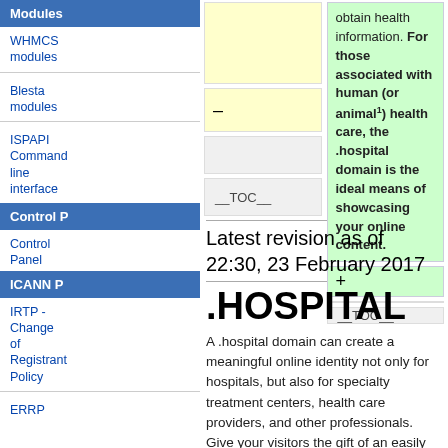Modules
WHMCS modules
Blesta modules
ISPAPI Command line interface
Control P[anel]
Control Panel
ICANN P[olicies]
IRTP - Change of Registrant Policy
ERRP
[Figure (screenshot): Wiki edit comparison boxes: left yellow box (content area), right green box with text about obtaining health information and .hospital domain; minus and plus toggle buttons; gray and TOC boxes below]
obtain health information. For those associated with human (or animal¹) health care, the .hospital domain is the ideal means of showcasing your online content.
Latest revision as of 22:30, 23 February 2017
.HOSPITAL
A .hospital domain can create a meaningful online identity not only for hospitals, but also for specialty treatment centers, health care providers, and other professionals. Give your visitors the gift of an easily identifiable and